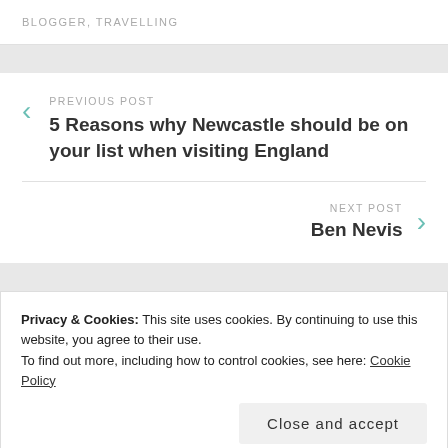BLOGGER, TRAVELLING
PREVIOUS POST
5 Reasons why Newcastle should be on your list when visiting England
NEXT POST
Ben Nevis
Privacy & Cookies: This site uses cookies. By continuing to use this website, you agree to their use.
To find out more, including how to control cookies, see here: Cookie Policy
Close and accept